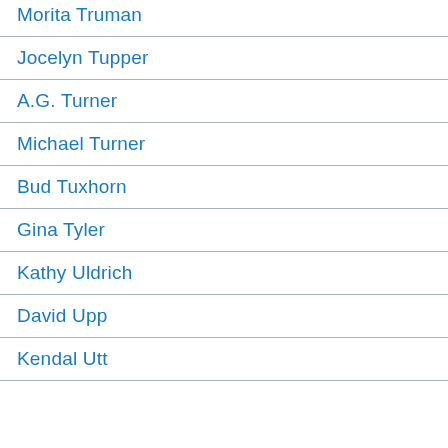Morita Truman
Jocelyn Tupper
A.G. Turner
Michael Turner
Bud Tuxhorn
Gina Tyler
Kathy Uldrich
David Upp
Kendal Utt